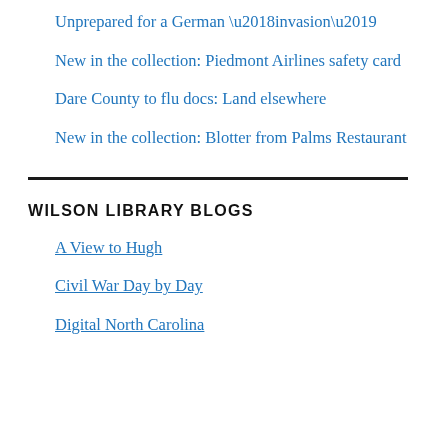Unprepared for a German ‘invasion’
New in the collection: Piedmont Airlines safety card
Dare County to flu docs: Land elsewhere
New in the collection: Blotter from Palms Restaurant
WILSON LIBRARY BLOGS
A View to Hugh
Civil War Day by Day
Digital North Carolina